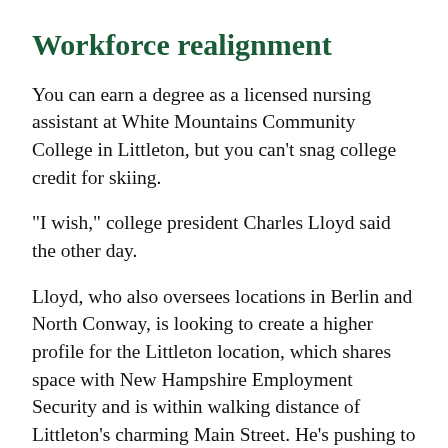Workforce realignment
You can earn a degree as a licensed nursing assistant at White Mountains Community College in Littleton, but you can’t snag college credit for skiing.
“I wish,” college president Charles Lloyd said the other day.
Lloyd, who also oversees locations in Berlin and North Conway, is looking to create a higher profile for the Littleton location, which shares space with New Hampshire Employment Security and is within walking distance of Littleton’s charming Main Street. He’s pushing to get funds to construct a $7 million building